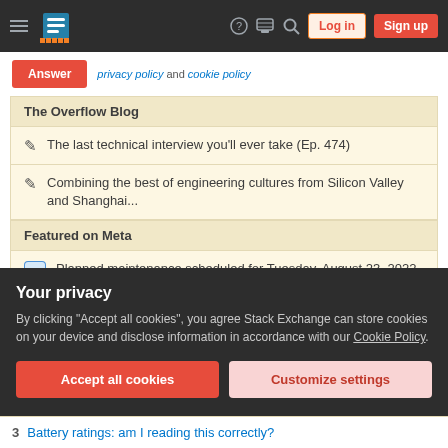Stack Exchange navigation bar with hamburger menu, logo, help, chat, search, Log in, Sign up buttons
Answer   privacy policy and cookie policy
The Overflow Blog
The last technical interview you'll ever take (Ep. 474)
Combining the best of engineering cultures from Silicon Valley and Shanghai...
Featured on Meta
Planned maintenance scheduled for Tuesday, August 23, 2022 at 00:00-03:00 AM
Your privacy
By clicking "Accept all cookies", you agree Stack Exchange can store cookies on your device and disclose information in accordance with our Cookie Policy.
Accept all cookies   Customize settings
3   Battery ratings: am I reading this correctly?